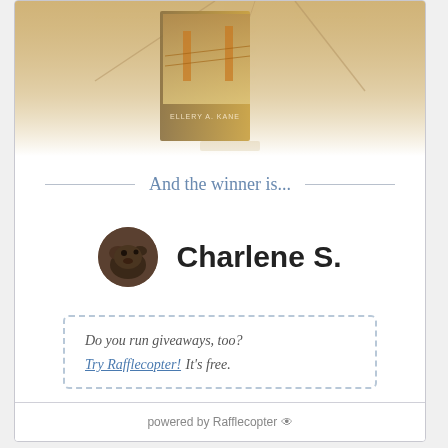[Figure (photo): Book cover image with Golden Gate Bridge background by Ellery A. Kane, fading into white]
And the winner is...
[Figure (photo): Small circular avatar photo of a dark dog]
Charlene S.
Do you run giveaways, too? Try Rafflecopter! It's free.
powered by Rafflecopter